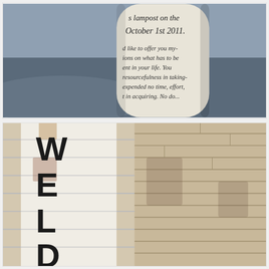[Figure (photo): Close-up photo of a cylindrical lamppost with handwritten text reading 'lampost on the October 1st 2011.' and below 'd like to offer you my- ions on what has to be ent in your life. You resourcefulness in taking- expended no time, effort, t in acquiring. No do...' Text is handwritten in green marker on white paper wrapped around the post. Background shows a blurred car and trees.]
[Figure (photo): Photo of a brick wall with large bold black letters spelling 'WELD' vertically on white tiles on the left half, and aged brick wall on the right half. The tiles are white/cream with rust staining and the lettering is worn black paint.]